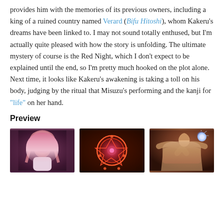provides him with the memories of its previous owners, including a king of a ruined country named Verard (Bifu Hitoshi), whom Kakeru's dreams have been linked to. I may not sound totally enthused, but I'm actually quite pleased with how the story is unfolding. The ultimate mystery of course is the Red Night, which I don't expect to be explained until the end, so I'm pretty much hooked on the plot alone. Next time, it looks like Kakeru's awakening is taking a toll on his body, judging by the ritual that Misuzu's performing and the kanji for "life" on her hand.
Preview
[Figure (photo): Anime screenshot: pink-haired female character from the front, dimly lit purple/dark background]
[Figure (photo): Anime screenshot: glowing red/orange magic circle with pentagram design on dark background]
[Figure (photo): Anime screenshot: character with light glowing orb, brown/warm toned background]